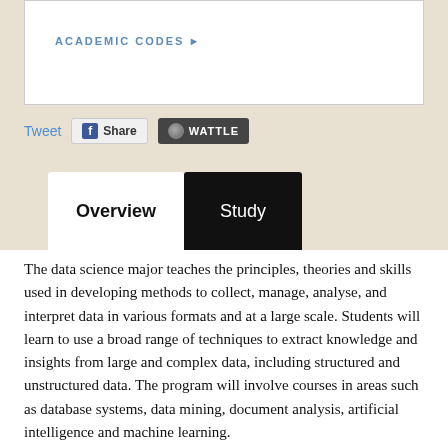ACADEMIC CODES ▶
Tweet  Share  WATTLE
Overview  Study
The data science major teaches the principles, theories and skills used in developing methods to collect, manage, analyse, and interpret data in various formats and at a large scale. Students will learn to use a broad range of techniques to extract knowledge and insights from large and complex data, including structured and unstructured data. The program will involve courses in areas such as database systems, data mining, document analysis, artificial intelligence and machine learning.